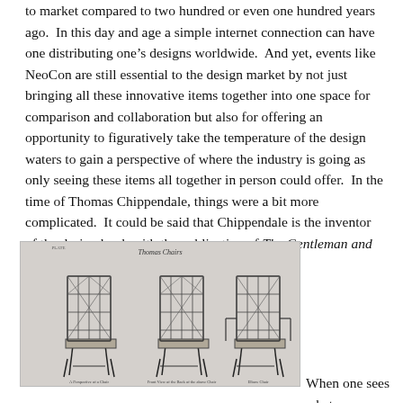to market compared to two hundred or even one hundred years ago.  In this day and age a simple internet connection can have one distributing one's designs worldwide.  And yet, events like NeoCon are still essential to the design market by not just bringing all these innovative items together into one space for comparison and collaboration but also for offering an opportunity to figuratively take the temperature of the design waters to gain a perspective of where the industry is going as only seeing these items all together in person could offer.  In the time of Thomas Chippendale, things were a bit more complicated.  It could be said that Chippendale is the inventor of the design book with the publication of The Gentleman and Cabinet Maker's Director.
[Figure (illustration): Black and white engraving illustration of three Chippendale-style chairs with ornate lattice backs, from The Gentleman and Cabinet Maker's Director. The image has a light grey background and shows the chairs in side/front views with decorative fretwork backrests.]
When one sees what